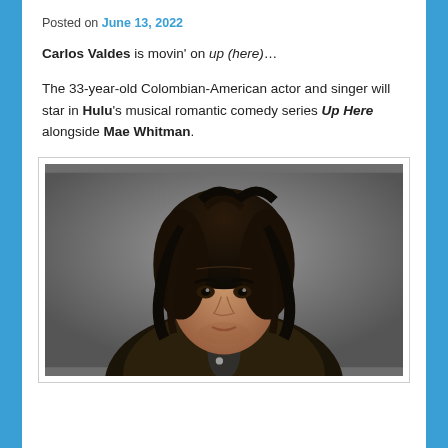Posted on June 13, 2022
Carlos Valdes is movin' on up (here)…
The 33-year-old Colombian-American actor and singer will star in Hulu's musical romantic comedy series Up Here alongside Mae Whitman.
[Figure (photo): Portrait photo of Carlos Valdes, a young man with long dark curly hair, wearing a dark patterned jacket with a polka-dot tie, against a grey background.]